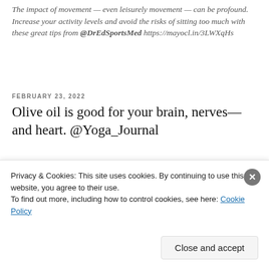The impact of movement — even leisurely movement — can be profound. Increase your activity levels and avoid the risks of sitting too much with these great tips from @DrEdSportsMed https://mayocl.in/3LWXqHs
FEBRUARY 23, 2022
Olive oil is good for your brain, nerves—and heart. @Yoga_Journal
[Figure (photo): Photo of a bowl with olive oil and a checkered cloth with a dark handle visible, light muted background]
Privacy & Cookies: This site uses cookies. By continuing to use this website, you agree to their use.
To find out more, including how to control cookies, see here: Cookie Policy
Close and accept